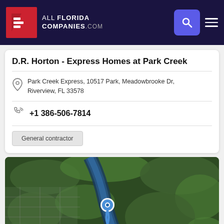ALL FLORIDA COMPANIES.COM
D.R. Horton - Express Homes at Park Creek
Park Creek Express, 10517 Park, Meadowbrooke Dr, Riverview, FL 33578
+1 386-506-7814
General contractor
[Figure (map): Satellite map view showing the location of D.R. Horton Express Homes at Park Creek in Riverview, FL, with a blue map pin marker indicating the address. The map shows aerial imagery of wooded areas, a river, and surrounding neighborhood.]